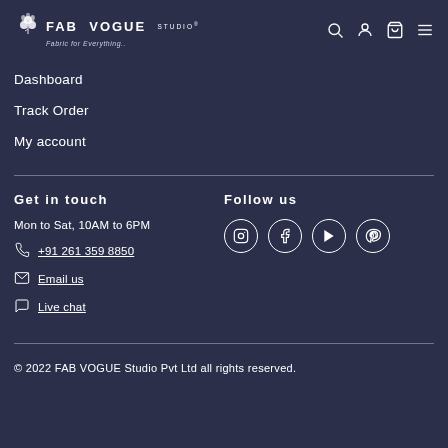[Figure (logo): FAB VOGUE STUDIO logo with flower/cotton icon and tagline 'Fabric for Everything..']
Dashboard
Track Order
My account
Get in touch
Mon to Sat, 10AM to 6PM
+91 261 359 8850
Email us
Live chat
Follow us
[Figure (illustration): Social media icons: Instagram, Facebook, YouTube, Pinterest]
© 2022 FAB VOGUE Studio Pvt Ltd all rights reserved.